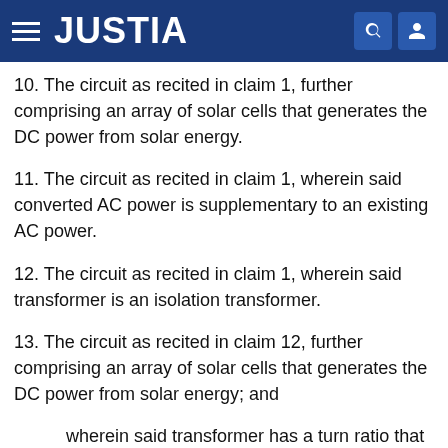JUSTIA
10. The circuit as recited in claim 1, further comprising an array of solar cells that generates the DC power from solar energy.
11. The circuit as recited in claim 1, wherein said converted AC power is supplementary to an existing AC power.
12. The circuit as recited in claim 1, wherein said transformer is an isolation transformer.
13. The circuit as recited in claim 12, further comprising an array of solar cells that generates the DC power from solar energy; and
wherein said transformer has a turn ratio that provides an AC voltage on said second side such that an open-circuit voltage of said array of solar